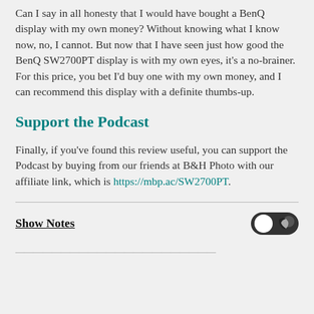Can I say in all honesty that I would have bought a BenQ display with my own money? Without knowing what I know now, no, I cannot. But now that I have seen just how good the BenQ SW2700PT display is with my own eyes, it's a no-brainer. For this price, you bet I'd buy one with my own money, and I can recommend this display with a definite thumbs-up.
Support the Podcast
Finally, if you've found this review useful, you can support the Podcast by buying from our friends at B&H Photo with our affiliate link, which is https://mbp.ac/SW2700PT.
Show Notes